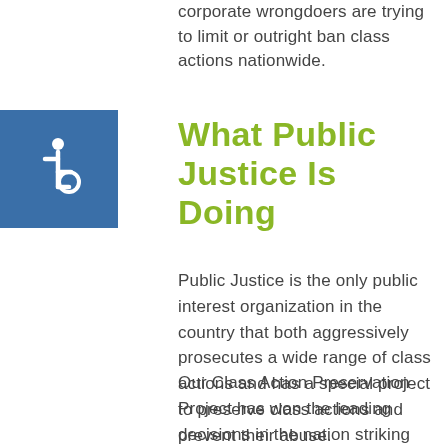corporate wrongdoers are trying to limit or outright ban class actions nationwide.
[Figure (illustration): Wheelchair accessibility icon — white wheelchair symbol on a blue square background]
What Public Justice Is Doing
Public Justice is the only public interest organization in the country that both aggressively prosecutes a wide range of class actions and has a special project to preserve class actions and prevent their abuse.
Our Class Action Preservation Project has won the leading decisions in the nation striking down class action bans. We have won landmark rulings preserving class actions in the California, New Jersey, New Mexico and Washington state high courts